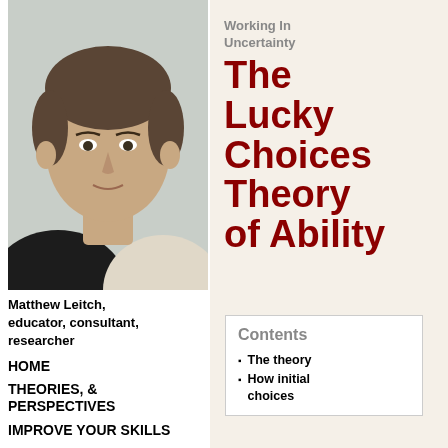[Figure (photo): Headshot of Matthew Leitch, a middle-aged man in a dark suit with light shirt, short brown hair, against a light background]
Matthew Leitch, educator, consultant, researcher
HOME
THEORIES, & PERSPECTIVES
IMPROVE YOUR SKILLS
IMPROVE AN
Working In Uncertainty
The Lucky Choices Theory of Ability
Contents
The theory
How initial choices